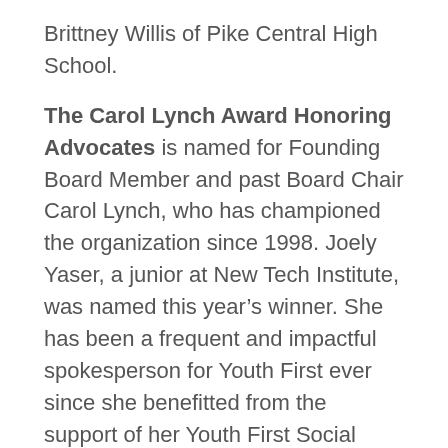Brittney Willis of Pike Central High School.
The Carol Lynch Award Honoring Advocates is named for Founding Board Member and past Board Chair Carol Lynch, who has championed the organization since 1998. Joely Yaser, a junior at New Tech Institute, was named this year's winner. She has been a frequent and impactful spokesperson for Youth First ever since she benefitted from the support of her Youth First Social Worker at Thompkins Middle School.
The Steve Fritz Award Honoring Educators celebrates Youth First Champion and past